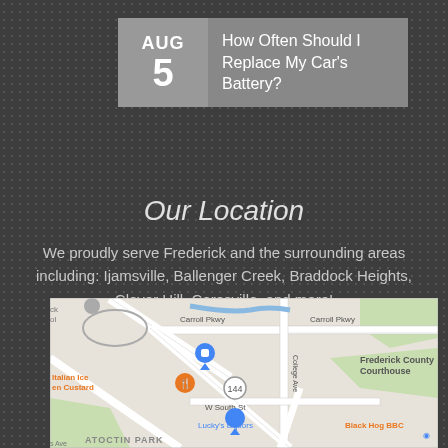AUG 5 – How Often Should I Replace My Car's Battery?
Our Location
We proudly serve Frederick and the surrounding areas including: Ijamsville, Ballenger Creek, Braddock Heights, Clover Hill, Ceresville, and more!
[Figure (map): Google Maps view showing Frederick County area with Carroll Pkwy, W South St, Catoctin Park, Frederick County Courthouse, Lucky's Liquors, Black Hog BBQ, Italian Ice & Custard, and route 144 marked.]